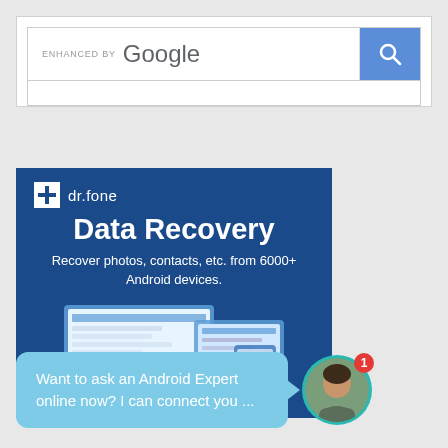[Figure (screenshot): Google search bar with 'ENHANCED BY Google' text and blue search button with magnifying glass icon]
[Figure (screenshot): dr.fone Data Recovery advertisement banner on dark blue background showing logo, title 'Data Recovery', subtitle 'Recover photos, contacts, etc. from 6000+ Android devices.' and device screenshots]
Want to ask an Android Expert online now? I can connect you ...